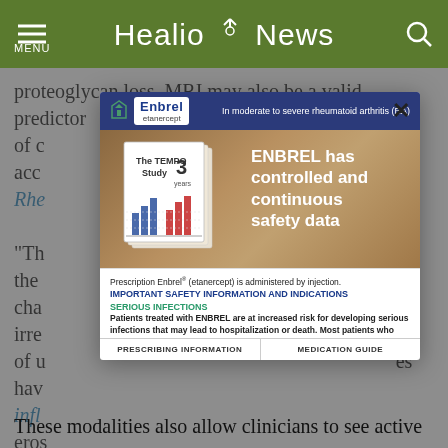Healio News
proteoglycan loss. MRI may also be a valid predictor of c... acc... n in Rhe...
"Th... the cha... irre... of u... hav... infl... eros...
[Figure (screenshot): Enbrel (etanercept) advertisement modal overlay showing The TEMPO Study 3 years with bar charts, text: ENBREL has controlled and continuous safety data. Includes Prescription Enbrel (etanercept) is administered by injection. IMPORTANT SAFETY INFORMATION AND INDICATIONS. SERIOUS INFECTIONS. Patients treated with ENBREL are at increased risk for developing serious infections that may lead to hospitalization or death. Most patients who. Bottom links: PRESCRIBING INFORMATION | MEDICATION GUIDE]
These modalities also allow clinicians to see active